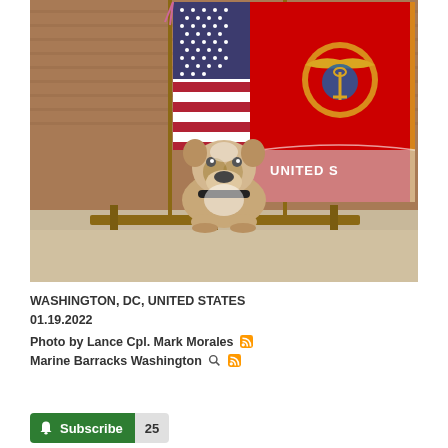[Figure (photo): An English Bulldog sitting in front of two flags — the United States flag on the left and the United States Marine Corps flag on the right — on a wooden flag stand, set against a brick wall background. The bulldog wears a black collar.]
WASHINGTON, DC, UNITED STATES
01.19.2022
Photo by Lance Cpl. Mark Morales
Marine Barracks Washington
Subscribe 25